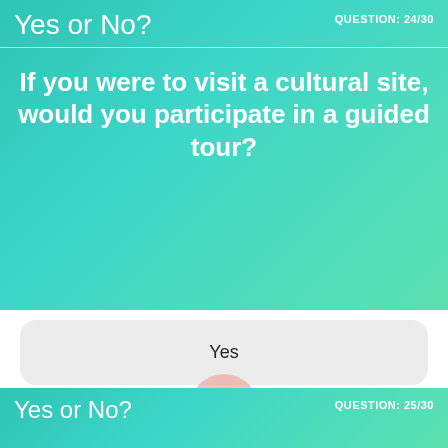Yes or No?   QUESTION: 24/30
If you were to visit a cultural site, would you participate in a guided tour?
Yes
No
[Figure (logo): Circular logo with a W letter in white on a pink/salmon background]
Yes or No?   QUESTION: 25/30